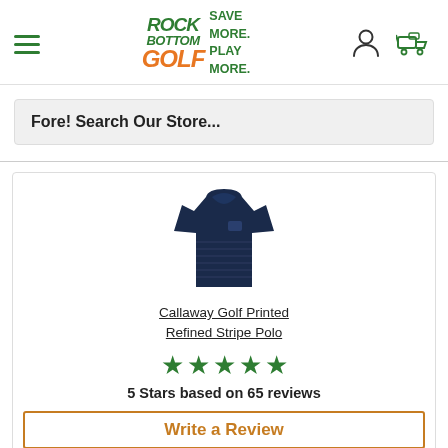[Figure (logo): Rock Bottom Golf logo with hamburger menu, user icon, and cart icon in header]
Fore! Search Our Store...
[Figure (photo): Navy blue Callaway Golf Printed Refined Stripe Polo shirt product image]
Callaway Golf Printed Refined Stripe Polo
[Figure (other): 5 green stars rating]
5 Stars based on 65 reviews
Write a Review